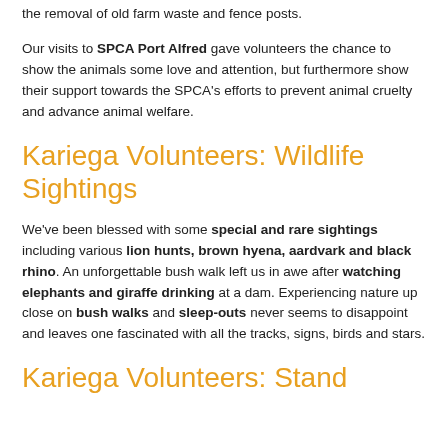the removal of old farm waste and fence posts.
Our visits to SPCA Port Alfred gave volunteers the chance to show the animals some love and attention, but furthermore show their support towards the SPCA's efforts to prevent animal cruelty and advance animal welfare.
Kariega Volunteers: Wildlife Sightings
We've been blessed with some special and rare sightings including various lion hunts, brown hyena, aardvark and black rhino. An unforgettable bush walk left us in awe after watching elephants and giraffe drinking at a dam. Experiencing nature up close on bush walks and sleep-outs never seems to disappoint and leaves one fascinated with all the tracks, signs, birds and stars.
Kariega Volunteers: Stand